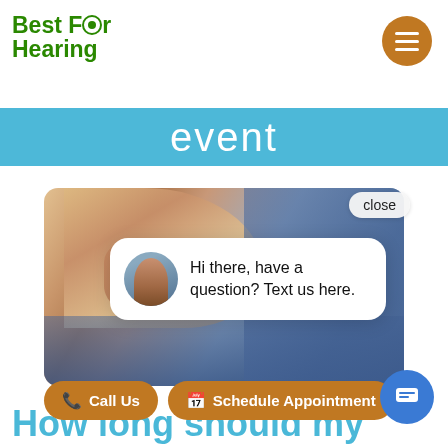Best For Hearing
event
[Figure (photo): Close-up photo of a person's fingers handling a small hearing aid device, with a blue plaid shirt visible in the background. A chat popup overlay shows an avatar of a woman and text: 'Hi there, have a question? Text us here.']
Hi there, have a question? Text us here.
Call Us
Schedule Appointment
How long should my